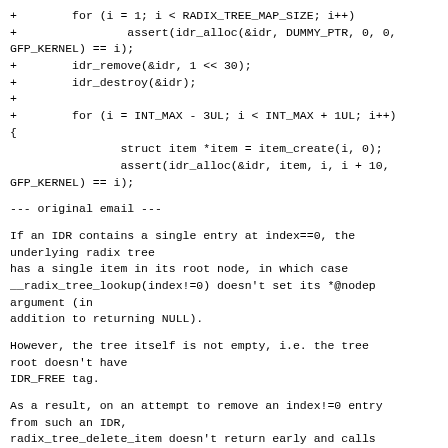+        for (i = 1; i < RADIX_TREE_MAP_SIZE; i++)
+                assert(idr_alloc(&idr, DUMMY_PTR, 0, 0,
GFP_KERNEL) == i);
+        idr_remove(&idr, 1 << 30);
+        idr_destroy(&idr);
+
+        for (i = INT_MAX - 3UL; i < INT_MAX + 1UL; i++)
{
                struct item *item = item_create(i, 0);
                assert(idr_alloc(&idr, item, i, i + 10,
GFP_KERNEL) == i);
--- original email ---
If an IDR contains a single entry at index==0, the underlying radix tree
has a single item in its root node, in which case
__radix_tree_lookup(index!=0) doesn't set its *@nodep argument (in
addition to returning NULL).
However, the tree itself is not empty, i.e. the tree root doesn't have
IDR_FREE tag.
As a result, on an attempt to remove an index!=0 entry from such an IDR,
radix_tree_delete_item doesn't return early and calls
__radix_tree_delete with invalid parameters which are
then dereferenced.